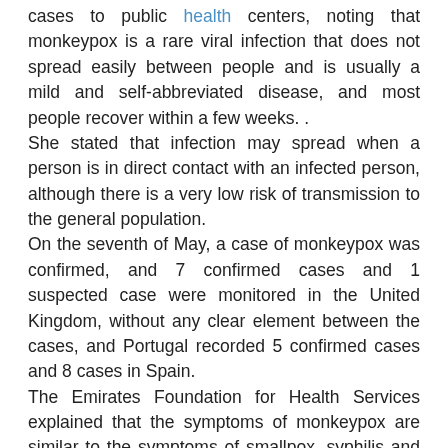cases to public health centers, noting that monkeypox is a rare viral infection that does not spread easily between people and is usually a mild and self-abbreviated disease, and most people recover within a few weeks. . She stated that infection may spread when a person is in direct contact with an infected person, although there is a very low risk of transmission to the general population. On the seventh of May, a case of monkeypox was confirmed, and 7 confirmed cases and 1 suspected case were monitored in the United Kingdom, without any clear element between the cases, and Portugal recorded 5 confirmed cases and 8 cases in Spain. The Emirates Foundation for Health Services explained that the symptoms of monkeypox are similar to the symptoms of smallpox, syphilis and other diseases with a rash, noting that monkeypox is mostly transmitted to humans through direct contact with fluids or the blood of